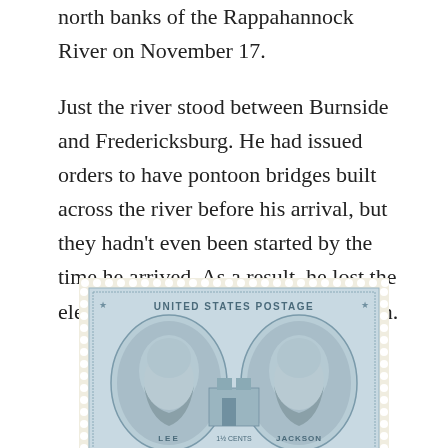north banks of the Rappahannock River on November 17.
Just the river stood between Burnside and Fredericksburg. He had issued orders to have pontoon bridges built across the river before his arrival, but they hadn’t even been started by the time he arrived. As a result, he lost the element of surprise he had counted on.
[Figure (photo): A United States postage stamp depicting two oval portrait medallions — Lee on the left and Jackson on the right — with a building in the center background. The stamp is printed in blue on a light background and reads 'UNITED STATES POSTAGE' across the top.]